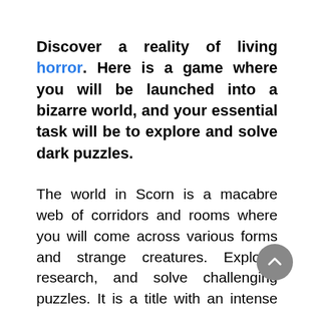Discover a reality of living horror. Here is a game where you will be launched into a bizarre world, and your essential task will be to explore and solve dark puzzles.
The world in Scorn is a macabre web of corridors and rooms where you will come across various forms and strange creatures. Explore, research, and solve challenging puzzles. It is a title with an intense claustrophobic atmosphere, perfect for players looking for extreme experiences. What's more, almost every element of the environment in